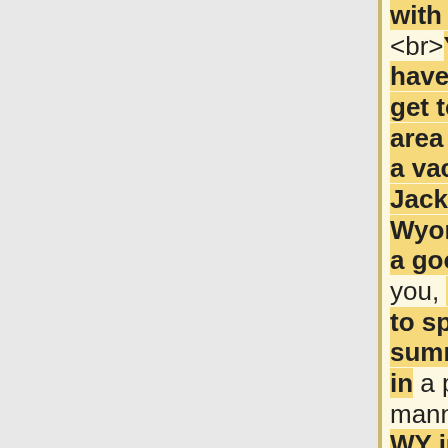with you.<br><br>You really have to exactly get to the good area to try to find a vacation home. Jackson Wyoming can be a good place for you, if you wish to spend you summer vacation in a peaceful manner. Jackson WY industry can be right approach to buy your vacation home, type of located in the quiet and quaint place
so that can grab something quick to use. <br><br>There are many factors that determine as soon as the timing is right for you acquire a house. Your credit score has reached least 620 and your savings arrived at least 6.5% of the purchase price of your house hold. Your lifestyle has changed, or will need to to relocate for